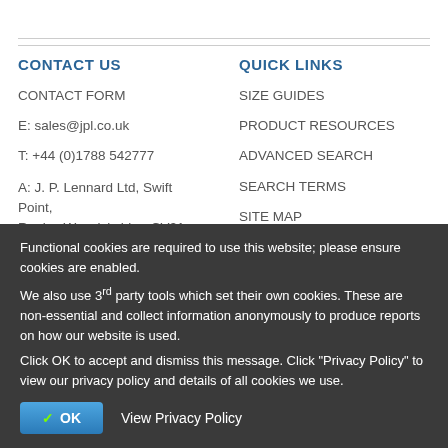CONTACT US
CONTACT FORM
E: sales@jpl.co.uk
T: +44 (0)1788 542777
A: J. P. Lennard Ltd, Swift Point, Rugby, Warwickshire, CV21 1PX, United Kingdom
Opening Hours: 8:30-17:00, Monday
QUICK LINKS
SIZE GUIDES
PRODUCT RESOURCES
ADVANCED SEARCH
SEARCH TERMS
SITE MAP
Functional cookies are required to use this website; please ensure cookies are enabled.
We also use 3rd party tools which set their own cookies. These are non-essential and collect information anonymously to produce reports on how our website is used.
Click OK to accept and dismiss this message. Click "Privacy Policy" to view our privacy policy and details of all cookies we use.